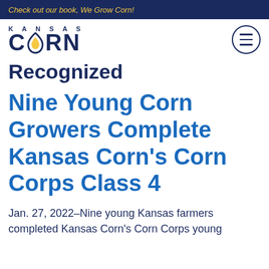Check out our book, We Grow Corn!
[Figure (logo): Kansas Corn logo with stylized corn drop shape replacing the O in CORN, navy blue text]
Recognized
Nine Young Corn Growers Complete Kansas Corn's Corn Corps Class 4
Jan. 27, 2022–Nine young Kansas farmers completed Kansas Corn's Corn Corps young